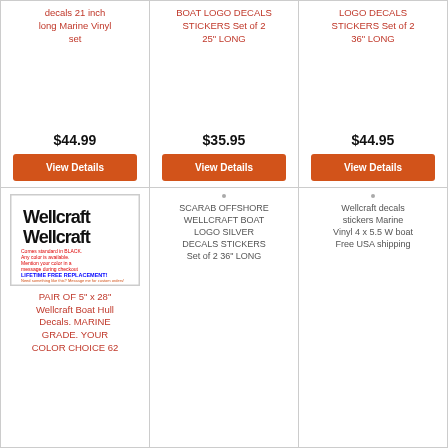decals 21 inch long Marine Vinyl set
$44.99
View Details
BOAT LOGO DECALS STICKERS Set of 2 25" LONG
$35.95
View Details
LOGO DECALS STICKERS Set of 2 36" LONG
$44.95
View Details
[Figure (photo): Wellcraft boat decal product image showing black Wellcraft logo text repeated twice, with red and blue text overlay about color options and lifetime free replacement]
PAIR OF 5" x 28" Wellcraft Boat Hull Decals. MARINE GRADE. YOUR COLOR CHOICE 62
SCARAB OFFSHORE WELLCRAFT BOAT LOGO SILVER DECALS STICKERS Set of 2 36" LONG
Wellcraft decals stickers Marine Vinyl 4 x 5.5 W boat Free USA shipping